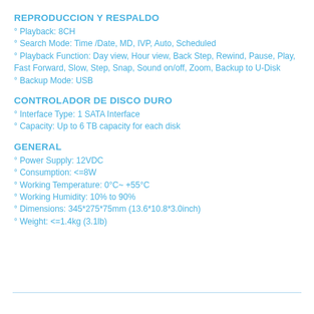REPRODUCCION Y RESPALDO
° Playback: 8CH
° Search Mode: Time /Date, MD, IVP, Auto, Scheduled
° Playback Function: Day view, Hour view, Back Step, Rewind, Pause, Play, Fast Forward, Slow, Step, Snap, Sound on/off, Zoom, Backup to U-Disk
° Backup Mode: USB
CONTROLADOR DE DISCO DURO
° Interface Type: 1 SATA Interface
° Capacity: Up to 6 TB capacity for each disk
GENERAL
° Power Supply: 12VDC
° Consumption: <=8W
° Working Temperature: 0°C~ +55°C
° Working Humidity: 10% to 90%
° Dimensions: 345*275*75mm (13.6*10.8*3.0inch)
° Weight: <=1.4kg (3.1lb)